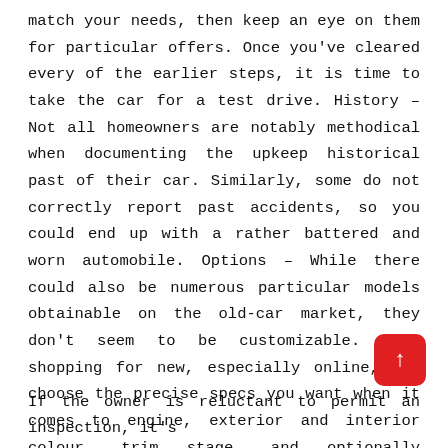match your needs, then keep an eye on them for particular offers. Once you've cleared every of the earlier steps, it is time to take the car for a test drive. History – Not all homeowners are notably methodical when documenting the upkeep historical past of their car. Similarly, some do not correctly report past accidents, so you could end up with a rather battered and worn automobile. Options – While there could also be numerous particular models obtainable on the old-car market, they don't seem to be customizable. When shopping for new, especially online, you choose the precise specs you want when it comes to engine, exterior and interior colour, trim stage, and optionally available packages.
[Figure (other): Red rounded-rectangle button with upward-pointing arrow (back-to-top navigation button)]
If the owner is reluctant to permit an inspection, it's